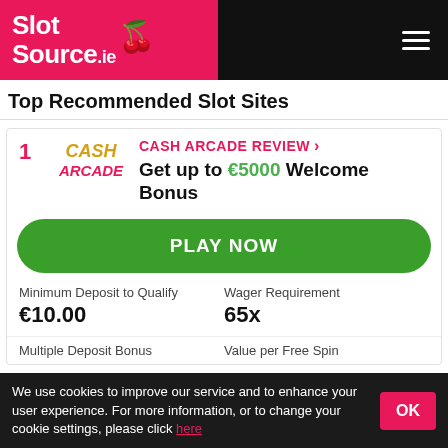[Figure (logo): SlotSource.ie logo on pink/red background with cherry graphic]
Top Recommended Slot Sites
1
[Figure (logo): Cash Arcade logo in gold and pink italic text]
CASH ARCADE REVIEW >
Get up to €5000 Welcome Bonus
PLAY NOW
Minimum Deposit to Qualify
€10.00
Wager Requirement
65x
Multiple Deposit Bonus
Value per Free Spin
We use cookies to improve our service and to enhance your user experience. For more information, or to change your cookie settings, please click here